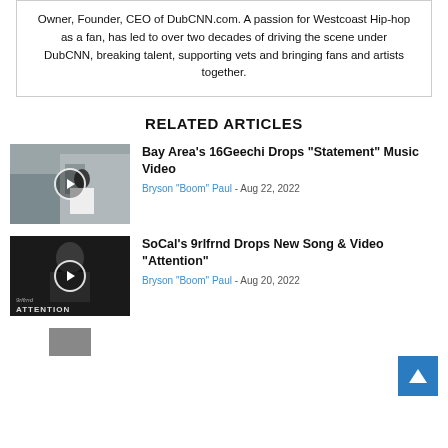Owner, Founder, CEO of DubCNN.com. A passion for Westcoast Hip-hop as a fan, has led to over two decades of driving the scene under DubCNN, breaking talent, supporting vets and bringing fans and artists together.
RELATED ARTICLES
[Figure (photo): Thumbnail photo of person outdoors with play button overlay]
Bay Area’s 16Geechi Drops “Statement” Music Video
Bryson “Boom” Paul - Aug 22, 2022
[Figure (photo): Black and white thumbnail photo of woman with play button overlay, text reads 9rlfrnd ATTENTION]
SoCal’s 9rlfrnd Drops New Song & Video “Attention”
Bryson “Boom” Paul - Aug 20, 2022
[Figure (photo): Partial thumbnail photo at bottom of page]